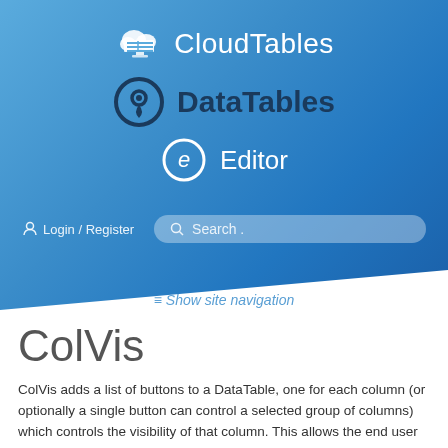[Figure (logo): CloudTables logo with cloud and table icon in white, text 'CloudTables' in white on blue gradient background]
[Figure (logo): DataTables logo with circular pin icon in dark blue, text 'DataTables' in dark blue on blue gradient background]
[Figure (logo): Editor logo with circular 'e' icon in white outline, text 'Editor' in white on blue gradient background]
Login / Register
Search .
≡ Show site navigation
ColVis
ColVis adds a list of buttons to a DataTable, one for each column (or optionally a single button can control a selected group of columns) which controls the visibility of that column. This allows the end user to select the data set that they want to view. The discussions in this category relate to ColVis.